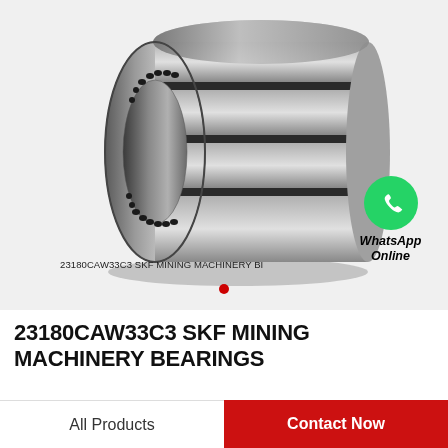[Figure (photo): A multi-row cylindrical roller bearing (four-row) in metallic gray/steel finish, shown in 3/4 perspective view. The bearing has visible roller elements and grooved outer ring rings.]
23180CAW33C3 SKF MINING MACHINERY BI
[Figure (illustration): WhatsApp green circle logo with phone handset icon, labeled 'WhatsApp Online' in bold italic text]
23180CAW33C3 SKF MINING MACHINERY BEARINGS
All Products   Contact Now